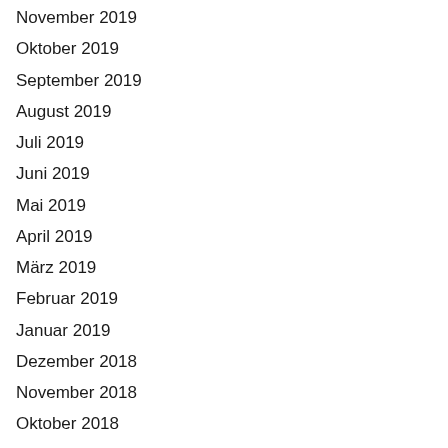November 2019
Oktober 2019
September 2019
August 2019
Juli 2019
Juni 2019
Mai 2019
April 2019
März 2019
Februar 2019
Januar 2019
Dezember 2018
November 2018
Oktober 2018